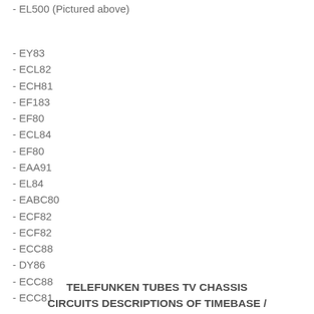- EL500 (Pictured above)
- EY83
- ECL82
- ECH81
- EF183
- EF80
- ECL84
- EF80
- EAA91
- EL84
- EABC80
- ECF82
- ECF82
- ECC88
- DY86
- ECC88
- ECC81
TELEFUNKEN TUBES TV CHASSIS CIRCUITS DESCRIPTIONS OF TIMEBASE /